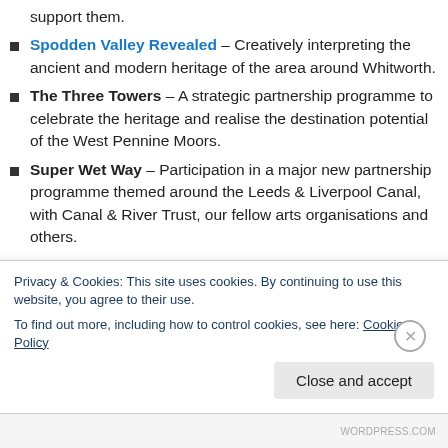support them.
Spodden Valley Revealed – Creatively interpreting the ancient and modern heritage of the area around Whitworth.
The Three Towers – A strategic partnership programme to celebrate the heritage and realise the destination potential of the West Pennine Moors.
Super Wet Way – Participation in a major new partnership programme themed around the Leeds & Liverpool Canal, with Canal & River Trust, our fellow arts organisations and others.
Privacy & Cookies: This site uses cookies. By continuing to use this website, you agree to their use. To find out more, including how to control cookies, see here: Cookie Policy
Close and accept